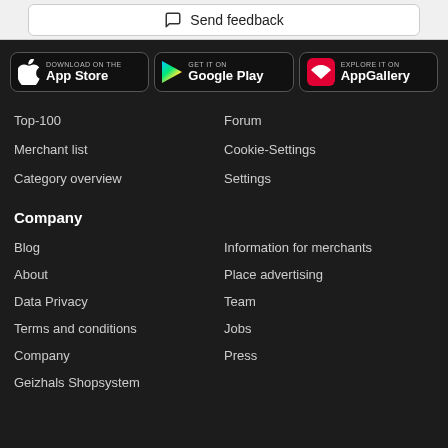Send feedback
[Figure (logo): Download on the App Store badge]
[Figure (logo): GET IT ON Google Play badge]
[Figure (logo): EXPLORE IT ON AppGallery badge]
Top-100
Forum
Merchant list
Cookie-Settings
Category overview
Settings
Company
Blog
Information for merchants
About
Place advertising
Data Privacy
Team
Terms and conditions
Jobs
Company
Press
Geizhals Shopsystem